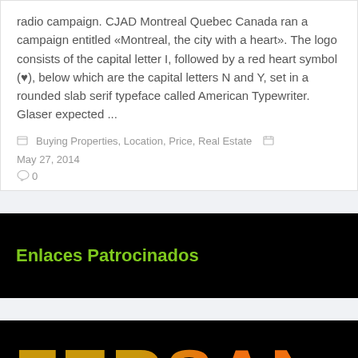radio campaign. CJAD Montreal Quebec Canada ran a campaign entitled «Montreal, the city with a heart». The logo consists of the capital letter I, followed by a red heart symbol (♥), below which are the capital letters N and Y, set in a rounded slab serif typeface called American Typewriter. Glaser expected ...
Buying Properties, Location, Price, Real Estate   May 27, 2014   0
Enlaces Patrocinados
[Figure (logo): FERSAN logo in large bold text on black background, with gold and orange gradient coloring]